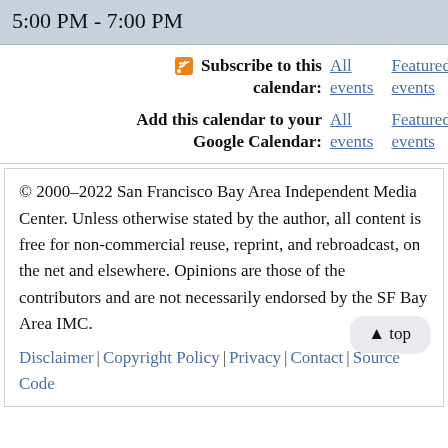5:00 PM - 7:00 PM
Subscribe to this calendar: All events | Featured events
Add this calendar to your Google Calendar: All events | Featured events
© 2000–2022 San Francisco Bay Area Independent Media Center. Unless otherwise stated by the author, all content is free for non-commercial reuse, reprint, and rebroadcast, on the net and elsewhere. Opinions are those of the contributors and are not necessarily endorsed by the SF Bay Area IMC. Disclaimer | Copyright Policy | Privacy | Contact | Source Code